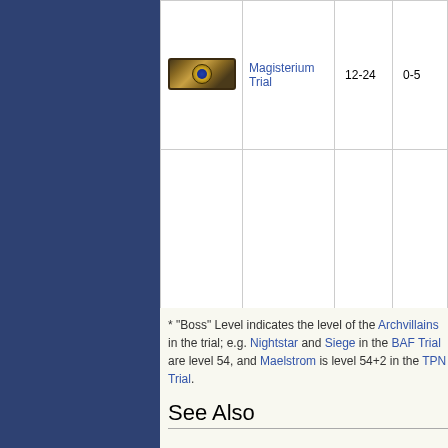| Icon | Name | Level Range | Boss Level |
| --- | --- | --- | --- |
| [icon] | Magisterium Trial | 12-24 | 0-5 |
* "Boss" Level indicates the level of the Archvillains in the trial; e.g. Nightstar and Siege in the BAF Trial are level 54, and Maelstrom is level 54+2 in the TPN Trial.
See Also